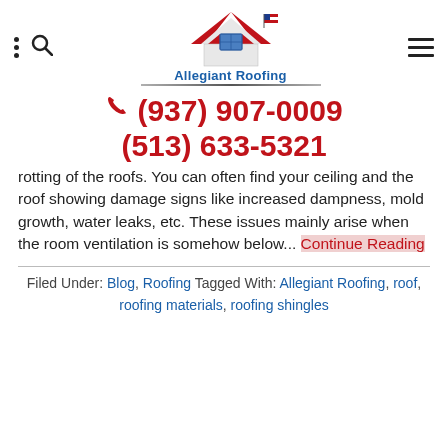Allegiant Roofing — navigation header with logo, phone numbers (937) 907-0009 and (513) 633-5321
rotting of the roofs. You can often find your ceiling and the roof showing damage signs like increased dampness, mold growth, water leaks, etc. These issues mainly arise when the room ventilation is somehow below... Continue Reading
Filed Under: Blog, Roofing Tagged With: Allegiant Roofing, roof, roofing materials, roofing shingles